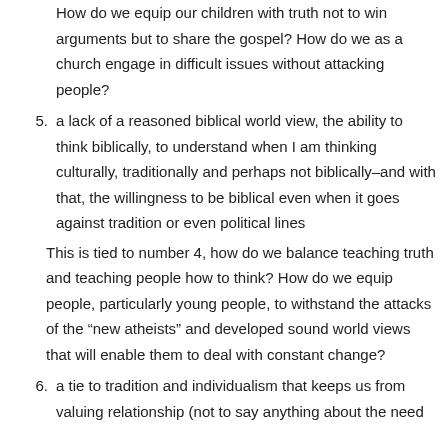How do we equip our children with truth not to win arguments but to share the gospel? How do we as a church engage in difficult issues without attacking people?
5. a lack of a reasoned biblical world view, the ability to think biblically, to understand when I am thinking culturally, traditionally and perhaps not biblically–and with that, the willingness to be biblical even when it goes against tradition or even political lines
This is tied to number 4, how do we balance teaching truth and teaching people how to think? How do we equip people, particularly young people, to withstand the attacks of the “new atheists” and developed sound world views that will enable them to deal with constant change?
6. a tie to tradition and individualism that keeps us from valuing relationship (not to say anything about the need